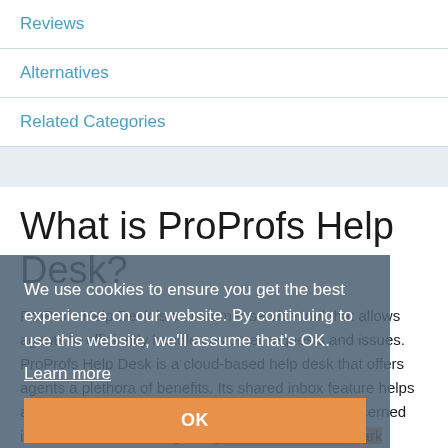Reviews
Alternatives
Related Categories
What is ProProfs Help Desk?
ProProfs Help Desk is a customer service tool that allows agents to efficiently handle customer requests and issues. ProProfs Help Desk is a cloud-based help desk that offers agents a plethora of benefits. Its shared inbox feature helps agents to view, access, and assign tasks to the concerned individual or, team. They can prioritize, label, and mark tickets that need immediate attention. With canned responses and automated messages, agents can automatically communicate with their customers and keep them up-to-date. The help desk
We use cookies to ensure you get the best experience on our website. By continuing to use this website, we'll assume that's OK.
Learn more
OK